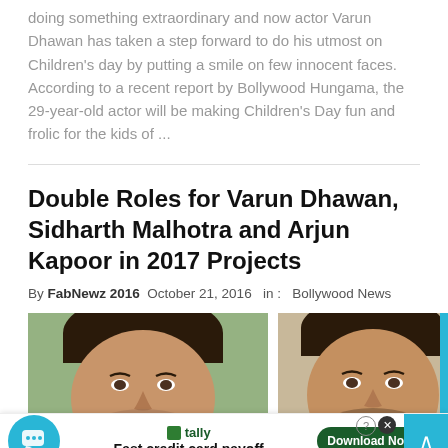doing something extraordinary and now actor Varun Dhawan has taken a step forward to do his utmost on Children's day by putting a smile on few innocent faces. According to a recent report by Bollywood Hungama, the 29-year-old actor will be making Children's Day fun and frolic for the kids of ...
Double Roles for Varun Dhawan, Sidharth Malhotra and Arjun Kapoor in 2017 Projects
By FabNewz 2016  October 21, 2016  in :  Bollywood News
[Figure (photo): Two Bollywood actors side by side: left photo shows Sidharth Malhotra with dark hair against green background, right photo shows Varun Dhawan with short hair against beige background]
Fast credit card payoff  Download Now